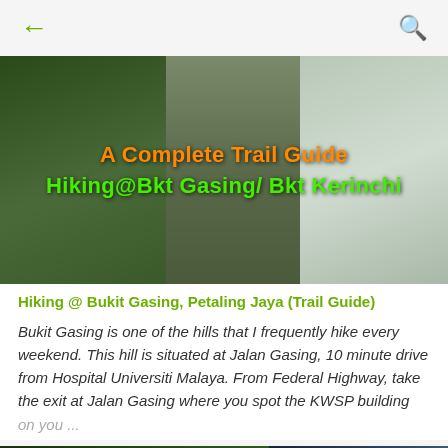← (back) | Q (search)
[Figure (photo): Hero banner image collage showing hiking trail photos at Bukit Gasing with overlaid text: 'A Complete Trail Guide' in orange and 'Hiking@Bkt Gasing/ Bkt Kerinchi' in green]
Hiking @ Bukit Gasing, Petaling Jaya (Trail Guide)
Bukit Gasing is one of the hills that I frequently hike every weekend. This hill is situated at Jalan Gasing, 10 minute drive from Hospital Universiti Malaya. From Federal Highway, take the exit at Jalan Gasing where you spot the KWSP building on you...
[Figure (photo): Two-panel photo at the bottom: left panel showing dense jungle/tree canopy at Bukit Gasing, right panel showing a scenic mountain view with blue sky]